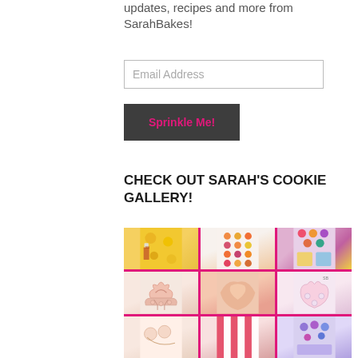updates, recipes and more from SarahBakes!
Email Address
Sprinkle Me!
CHECK OUT SARAH'S COOKIE GALLERY!
[Figure (photo): A 3x3 cookie gallery collage showing various decorated cookies including flower-shaped cookies, colorful lollipops, heart and dress-shaped cookies, and pink frosted cookies, separated by pink grid lines.]